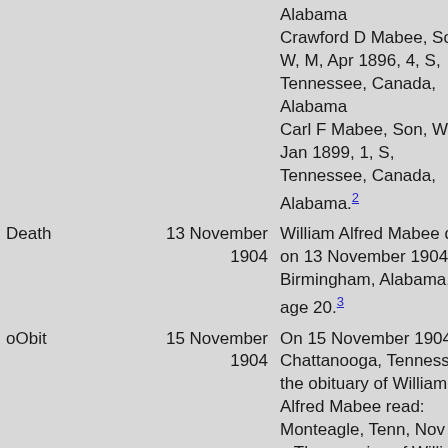| Event | Date | Description |
| --- | --- | --- |
|  |  | Alabama
Crawford D Mabee, Son, W, M, Apr 1896, 4, S, Tennessee, Canada, Alabama
Carl F Mabee, Son, W, M, Jan 1899, 1, S, Tennessee, Canada, Alabama.[2] |
| Death | 13 November 1904 | William Alfred Mabee died on 13 November 1904 at Birmingham, Alabama, at age 20.[3] |
| oObit | 15 November 1904 | On 15 November 1904 at Chattanooga, Tennessee, the obituary of William Alfred Mabee read: Monteagle, Tenn, Nov 14 – The remains of William A Mabee, who died im Birmingham yesterday afternoon of typhoid fever, were brought to his home at this place |